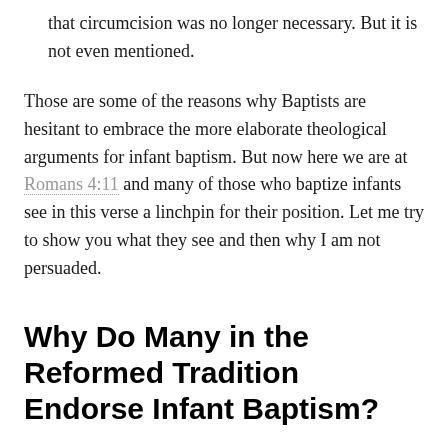that circumcision was no longer necessary. But it is not even mentioned.
Those are some of the reasons why Baptists are hesitant to embrace the more elaborate theological arguments for infant baptism. But now here we are at Romans 4:11 and many of those who baptize infants see in this verse a linchpin for their position. Let me try to show you what they see and then why I am not persuaded.
Why Do Many in the Reformed Tradition Endorse Infant Baptism?